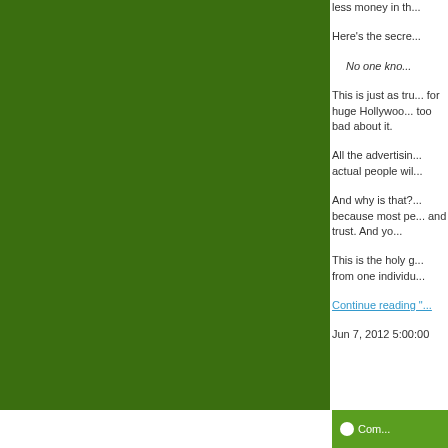less money in th...
Here's the secre...
No one kno...
This is just as tru... for huge Hollywoo... too bad about it.
All the advertisin... actual people wil...
And why is that?... because most pe... and trust. And yo...
This is the holy g... from one individu...
Continue reading "...
Jun 7, 2012 5:00:00
Com...